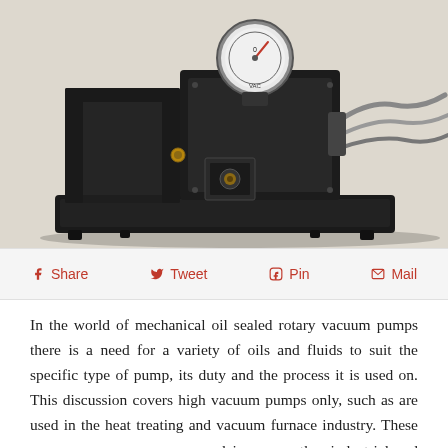[Figure (photo): A black mechanical oil-sealed rotary vacuum pump with a pressure gauge on top, mounted on a flat black base plate, with flexible metal hoses/cables extending to the right. Photographed against a light beige/cream background.]
Share  Tweet  Pin  Mail
In the world of mechanical oil sealed rotary vacuum pumps there is a need for a variety of oils and fluids to suit the specific type of pump, its duty and the process it is used on. This discussion covers high vacuum pumps only, such as are used in the heat treating and vacuum furnace industry. These same vacuum pumps are used in many other industrial and scientific applications and have